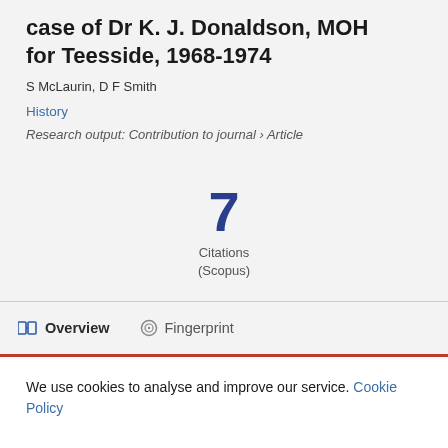case of Dr K. J. Donaldson, MOH for Teesside, 1968-1974
S McLaurin, D F Smith
History
Research output: Contribution to journal › Article
7 Citations (Scopus)
Overview   Fingerprint
We use cookies to analyse and improve our service. Cookie Policy